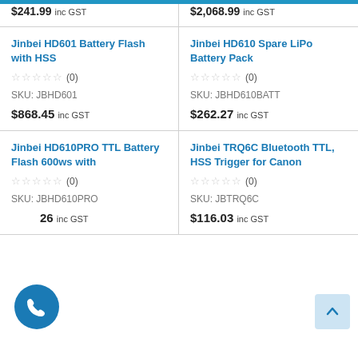$241.99 inc GST
$2,068.99 inc GST
Jinbei HD601 Battery Flash with HSS
☆☆☆☆☆ (0)
SKU: JBHD601
$868.45 inc GST
Jinbei HD610 Spare LiPo Battery Pack
☆☆☆☆☆ (0)
SKU: JBHD610BATT
$262.27 inc GST
Jinbei HD610PRO TTL Battery Flash 600ws with
☆☆☆☆☆ (0)
SKU: JBHD610PRO
26 inc GST
Jinbei TRQ6C Bluetooth TTL, HSS Trigger for Canon
☆☆☆☆☆ (0)
SKU: JBTRQ6C
$116.03 inc GST